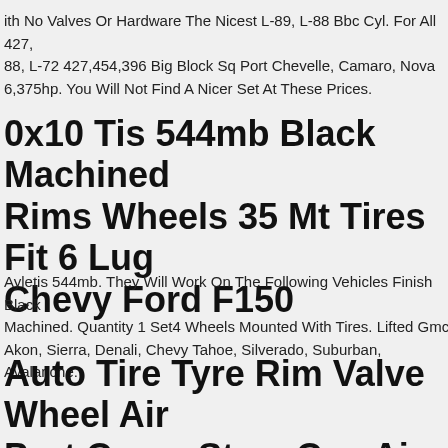ith No Valves Or Hardware The Nicest L-89, L-88 Bbc Cyl. For All 427, 88, L-72 427,454,396 Big Block Sq Port Chevelle, Camaro, Nova 6,375hp. You Will Not Find A Nicer Set At These Prices.
0x10 Tis 544mb Black Machined Rims Wheels 35 Mt Tires Fit 6 Lug Chevy Ford F150
Ayletis 544mb. They Will Work On The Following Vehicles Finish Black Machined. Quantity 1 Set4 Wheels Mounted With Tires. Lifted Gmc Akon, Sierra, Denali, Chevy Tahoe, Silverado, Suburban, Avalanche.
Auto Tire Tyre Rim Valve Wheel Air Port Cover Stem Cap Air Dust Cover screw Cap.